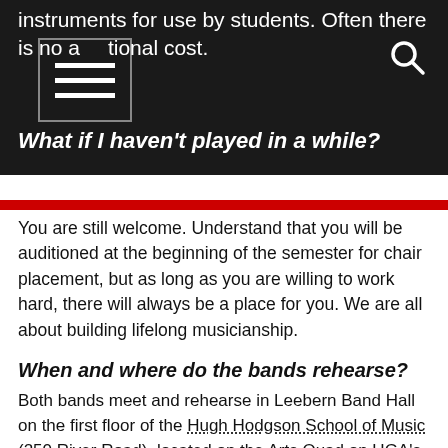instruments for use by students. Often there is no additional cost.
What if I haven't played in a while?
You are still welcome. Understand that you will be auditioned at the beginning of the semester for chair placement, but as long as you are willing to work hard, there will always be a place for you. We are all about building lifelong musicianship.
When and where do the bands rehearse?
Both bands meet and rehearse in Leebern Band Hall on the first floor of the Hugh Hodgson School of Music (250 River Road), located on the Arts Quad on UGA's East Campus. Rehearsal times for Spring 2022 will be announced at a later date.
Who are the conductors?
Concert and University Bands are directed and